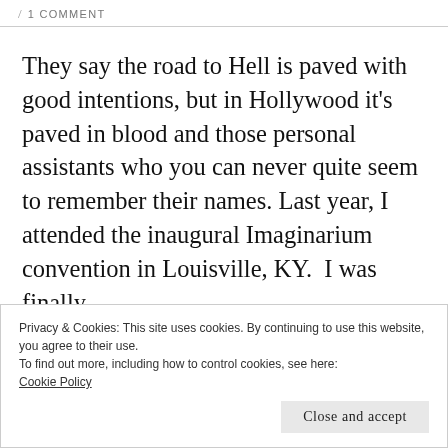/ 1 COMMENT
They say the road to Hell is paved with good intentions, but in Hollywood it's paved in blood and those personal assistants who you can never quite seem to remember their names. Last year, I attended the inaugural Imaginarium convention in Louisville, KY.  I was finally
Privacy & Cookies: This site uses cookies. By continuing to use this website, you agree to their use.
To find out more, including how to control cookies, see here:
Cookie Policy
Close and accept